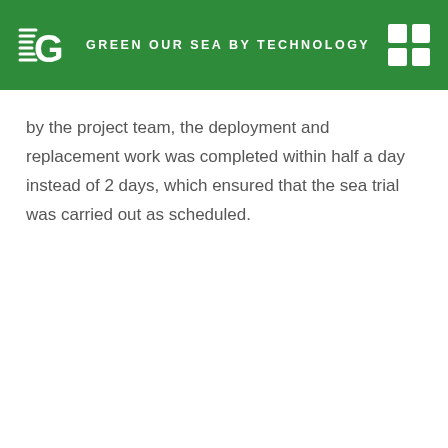GREEN OUR SEA BY TECHNOLOGY
by the project team, the deployment and replacement work was completed within half a day instead of 2 days, which ensured that the sea trial was carried out as scheduled.